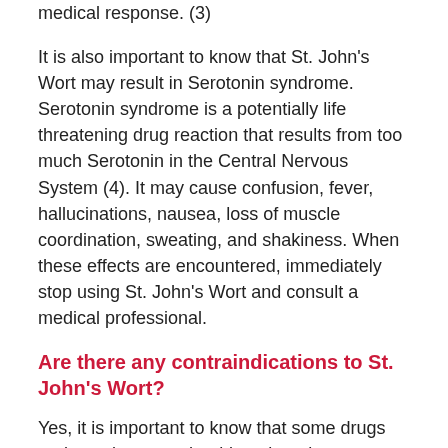medical response. (3)
It is also important to know that St. John's Wort may result in Serotonin syndrome. Serotonin syndrome is a potentially life threatening drug reaction that results from too much Serotonin in the Central Nervous System (4). It may cause confusion, fever, hallucinations, nausea, loss of muscle coordination, sweating, and shakiness. When these effects are encountered, immediately stop using St. John's Wort and consult a medical professional.
Are there any contraindications to St. John's Wort?
Yes, it is important to know that some drugs and supplements should not be taken alongside St. John's Wort since the compounds may interact